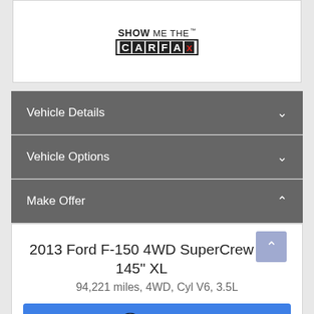[Figure (logo): Show Me The CARFAX logo with CARFAX in black boxes and X in red]
Vehicle Details
Vehicle Options
Make Offer
2013 Ford F-150 4WD SuperCrew 145" XL
94,221 miles, 4WD, Cyl V6, 3.5L
Text Us